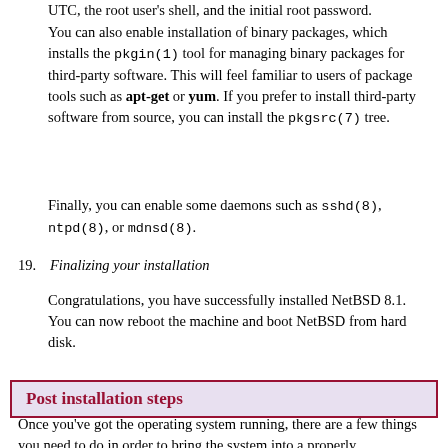UTC, the root user's shell, and the initial root password.
You can also enable installation of binary packages, which installs the pkgin(1) tool for managing binary packages for third-party software. This will feel familiar to users of package tools such as apt-get or yum. If you prefer to install third-party software from source, you can install the pkgsrc(7) tree.
Finally, you can enable some daemons such as sshd(8), ntpd(8), or mdnsd(8).
19. Finalizing your installation
Congratulations, you have successfully installed NetBSD 8.1. You can now reboot the machine and boot NetBSD from hard disk.
Post installation steps
Once you've got the operating system running, there are a few things you need to do in order to bring the system into a properly configured state. The next steps are covered in the following sections.